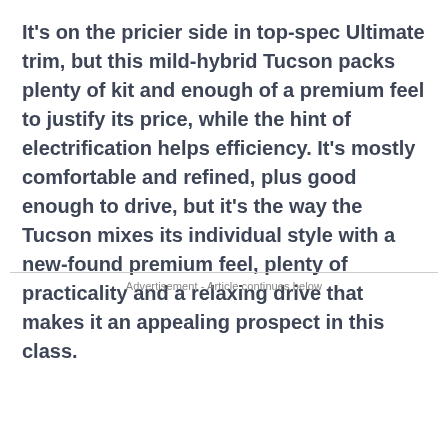It's on the pricier side in top-spec Ultimate trim, but this mild-hybrid Tucson packs plenty of kit and enough of a premium feel to justify its price, while the hint of electrification helps efficiency. It's mostly comfortable and refined, plus good enough to drive, but it's the way the Tucson mixes its individual style with a new-found premium feel, plenty of practicality and a relaxing drive that makes it an appealing prospect in this class.
Advertisement - Article continues below